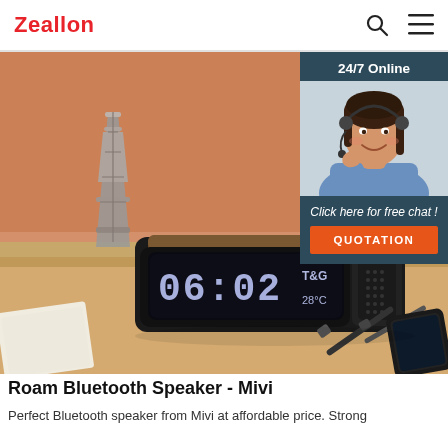Zeallon
[Figure (photo): Product photo of a Bluetooth speaker clock (T&G brand) showing 06:02 and 28°C on LED display, on a desk with Eiffel Tower figurine, pens, and smartphone. Overlaid with a 24/7 Online chat widget showing a woman with a headset, 'Click here for free chat!' text, and an orange QUOTATION button.]
Roam Bluetooth Speaker - Mivi
Perfect Bluetooth speaker from Mivi at affordable price. Strong